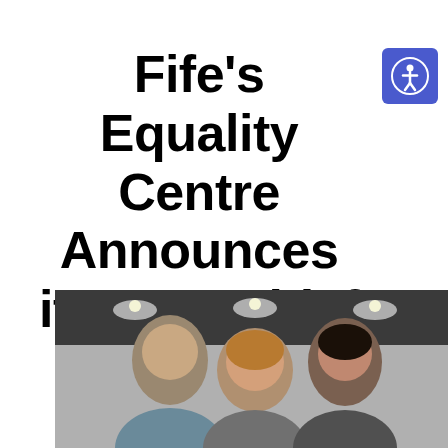Fife's Equality Centre Announces its New Chief Executive
[Figure (photo): Photograph of three people (two women and one man) posing together indoors in front of a dark wall with ceiling lights, partial crop showing heads and upper bodies]